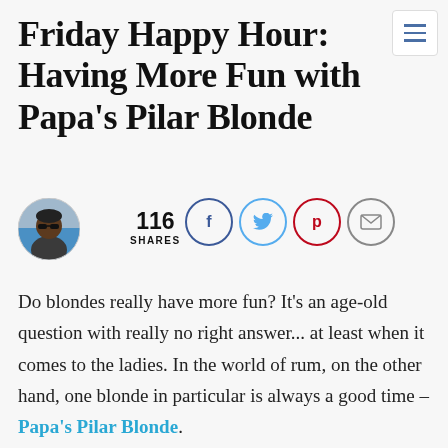Friday Happy Hour: Having More Fun with Papa's Pilar Blonde
[Figure (photo): Author avatar photo of a man wearing sunglasses, circular crop]
116 SHARES
[Figure (infographic): Social share icons: Facebook (f), Twitter (bird), Pinterest (p), Email (envelope) — circular outline buttons]
Do blondes really have more fun? It's an age-old question with really no right answer... at least when it comes to the ladies. In the world of rum, on the other hand, one blonde in particular is always a good time – Papa's Pilar Blonde.